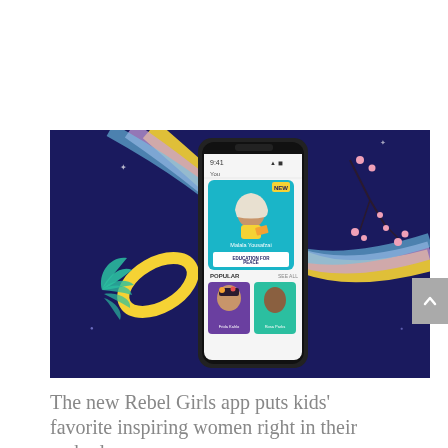[Figure (screenshot): Screenshot of the Rebel Girls app displayed on a smartphone, set against a dark navy blue illustrated background with colorful abstract shapes (pink, blue, yellow ribbons), teal fern leaves, and pink floral branches. The phone screen shows a profile card for Malala Yousafzai titled 'Education for Peace' with a 'NEW' badge, and a 'POPULAR' section below featuring Frida Kahlo and another woman.]
The new Rebel Girls app puts kids' favorite inspiring women right in their earbuds